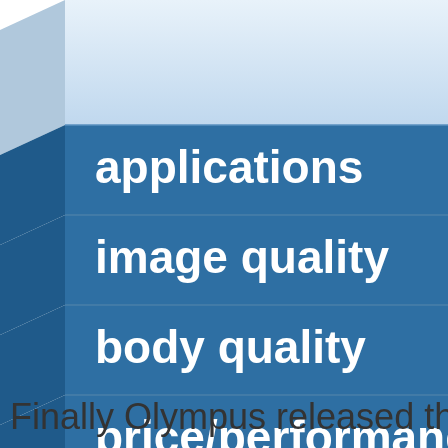[Figure (infographic): A 3D blue layered box/cube graphic showing stacked blue bands with white bold text labels: applications, image quality, body quality, price/performance, overall. The top of the box is a lighter blue gradient suggesting a 3D top face.]
Finally Olympus released the